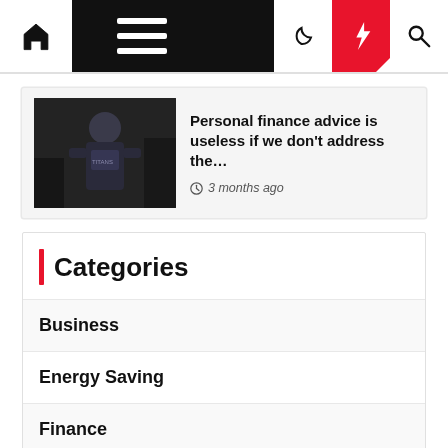Navigation bar with home, menu, moon, bolt, and search icons
[Figure (photo): Person in gym/fitness setting, dark clothing]
Personal finance advice is useless if we don't address the…
3 months ago
Categories
Business
Energy Saving
Finance
Insurance
Money